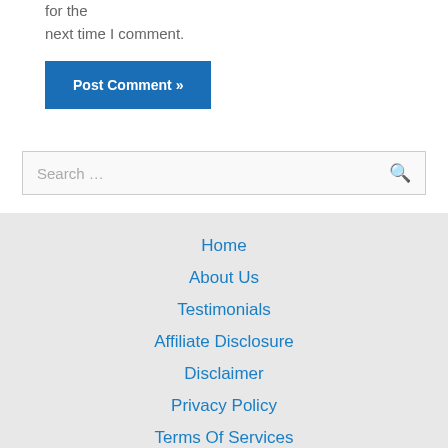for the next time I comment.
Post Comment »
Search …
Home
About Us
Testimonials
Affiliate Disclosure
Disclaimer
Privacy Policy
Terms Of Services